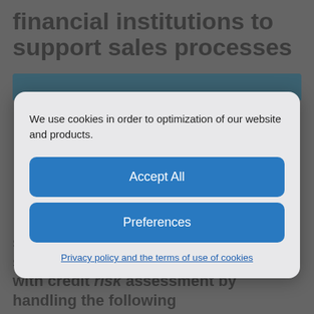financial institutions to support sales processes
[Figure (other): Dark teal/blue rectangular banner bar partially visible behind modal dialog]
We use cookies in order to optimization of our website and products.
Accept All
Preferences
Privacy policy and the terms of use of cookies
stages. Our software supports the sales process of banking products with credit risk assessment by handling the following